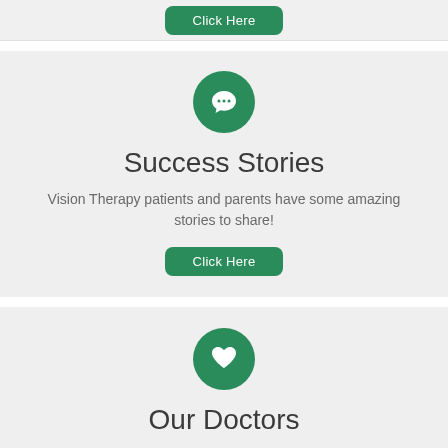[Figure (other): Green 'Click Here' button at top of page]
[Figure (illustration): Green circle with white speech bubble / chat icon]
Success Stories
Vision Therapy patients and parents have some amazing stories to share!
[Figure (other): Green 'Click Here' button]
[Figure (illustration): Green circle with white heart icon]
Our Doctors